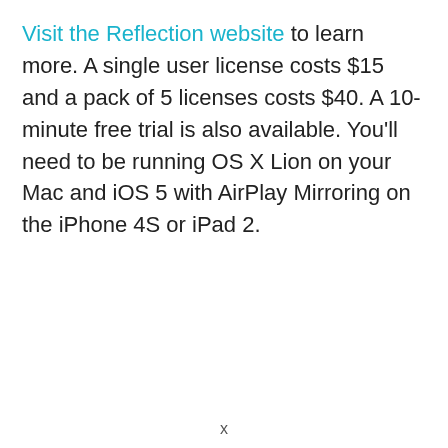Visit the Reflection website to learn more. A single user license costs $15 and a pack of 5 licenses costs $40. A 10-minute free trial is also available. You'll need to be running OS X Lion on your Mac and iOS 5 with AirPlay Mirroring on the iPhone 4S or iPad 2.
x